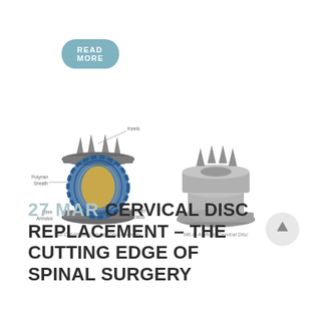READ MORE
[Figure (photo): Two views of the M6-C Artificial Cervical Disc: left image is a cutaway showing internal components labeled Keels, Polymer Sheath, Fibre Annulus, and Polymer Nucleus; right image shows the complete M6-C Artificial Cervical Disc from the outside. Captions below each image read 'M6-C Artificial Cervical Disc Cutaway' and 'M6-C Artificial Cervical Disc'.]
27 MAR CERVICAL DISC REPLACEMENT – THE CUTTING EDGE OF SPINAL SURGERY